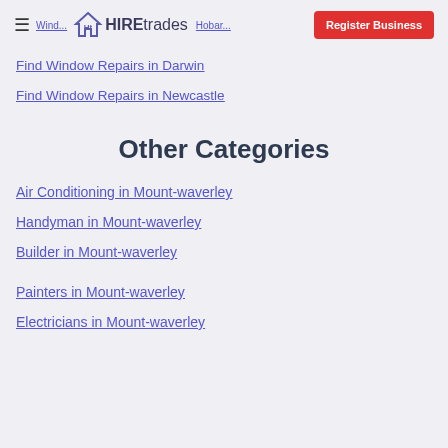HIREtrades | Register Business
Find Window Repairs in Darwin
Find Window Repairs in Newcastle
Other Categories
Air Conditioning in Mount-waverley
Handyman in Mount-waverley
Builder in Mount-waverley
Painters in Mount-waverley
Electricians in Mount-waverley